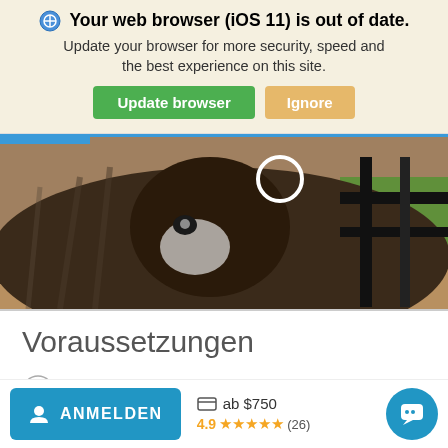Your web browser (iOS 11) is out of date. Update your browser for more security, speed and the best experience on this site.
Update browser | Ignore
[Figure (photo): Close-up photo of an okapi (or similar large dark animal) looking at the camera, outdoor zoo setting with a black fence/structure visible on the right.]
Voraussetzungen
Mindestalter: 16 Jahre
Um an diesem Programm teilzunehmen, musst du mindestens 16
ANMELDEN  ab $750  4.9 ★★★★★ (26)